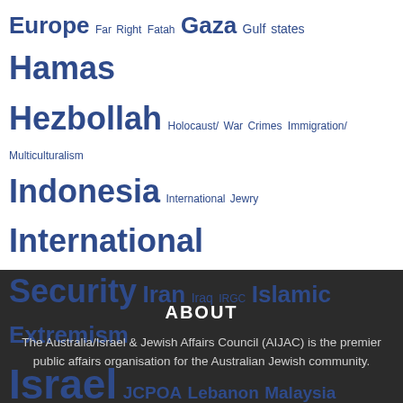[Figure (infographic): Tag cloud with political and geographic topics in varying font sizes, all in dark blue color. Larger tags include Israel, Palestinians, Hamas, Hezbollah, Iran, Islamic Extremism, Terrorism, United States, International Security, Media/Academia, Middle East. Smaller tags include Europe, Far Right, Fatah, Gaza, Gulf states, Holocaust/War Crimes, Immigration/Multiculturalism, Indonesia, International Jewry, Iraq, IRGC, JCPOA, Lebanon, Malaysia, New Zealand, NGOs, Russia, Saudi Arabia, Syria, Turkey, UAE, United Kingdom, United Nations.]
ABOUT
The Australia/Israel & Jewish Affairs Council (AIJAC) is the premier public affairs organisation for the Australian Jewish community.